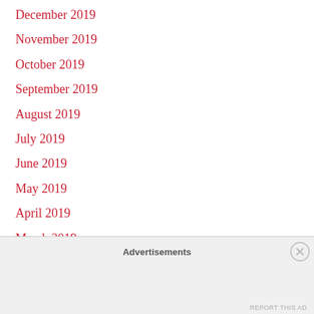December 2019
November 2019
October 2019
September 2019
August 2019
July 2019
June 2019
May 2019
April 2019
March 2019
February 2019
January 2019
December 2018
November 2018
Advertisements
REPORT THIS AD